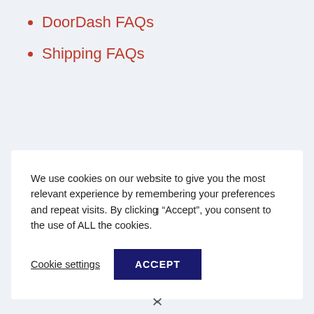DoorDash FAQs
Shipping FAQs
We use cookies on our website to give you the most relevant experience by remembering your preferences and repeat visits. By clicking “Accept”, you consent to the use of ALL the cookies.
Cookie settings  ACCEPT